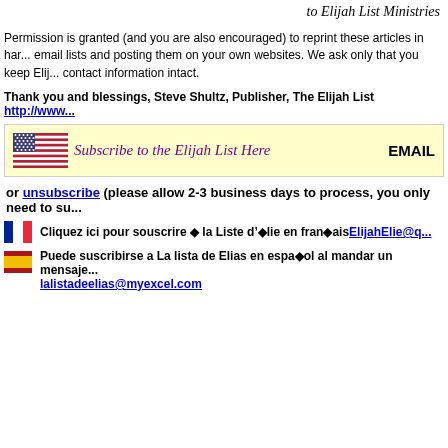to Elijah List Ministries
Permission is granted (and you are also encouraged) to reprint these articles in har... email lists and posting them on your own websites. We ask only that you keep Elij... contact information intact.
Thank you and blessings, Steve Shultz, Publisher, The Elijah List http://www...
[Figure (infographic): Yellow background box with US flag icon and 'Subscribe to the Elijah List Here' in purple italic text, and 'EMAIL' label on the right]
or unsubscribe (please allow 2-3 business days to process, you only need to su...
Cliquez ici pour souscrire à la Liste d'Élie en français ElijahElie@q...
Puede suscribirse a La lista de Elias en español al mandar un mensaje... lalistadeelias@myexcel.com